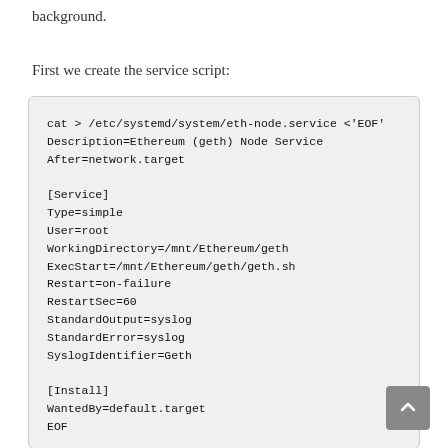background.
First we create the service script:
cat > /etc/systemd/system/eth-node.service <<'EOF'
Description=Ethereum (geth) Node Service
After=network.target

[Service]
Type=simple
User=root
WorkingDirectory=/mnt/Ethereum/geth
ExecStart=/mnt/Ethereum/geth/geth.sh
Restart=on-failure
RestartSec=60
StandardOutput=syslog
StandardError=syslog
SyslogIdentifier=Geth

[Install]
WantedBy=default.target
EOF